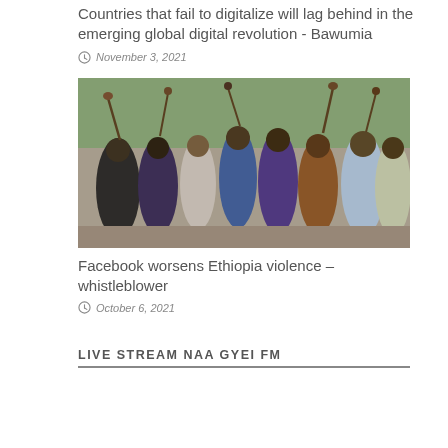Countries that fail to digitalize will lag behind in the emerging global digital revolution - Bawumia
November 3, 2021
[Figure (photo): Group of people gathered outdoors, several raising hands or sticks, crowd scene in Ethiopia]
Facebook worsens Ethiopia violence – whistleblower
October 6, 2021
LIVE STREAM NAA GYEI FM